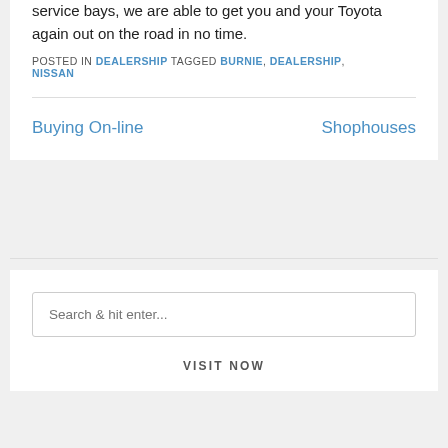service bays, we are able to get you and your Toyota again out on the road in no time.
POSTED IN DEALERSHIP TAGGED BURNIE, DEALERSHIP, NISSAN
Buying On-line
Shophouses
Search & hit enter...
VISIT NOW